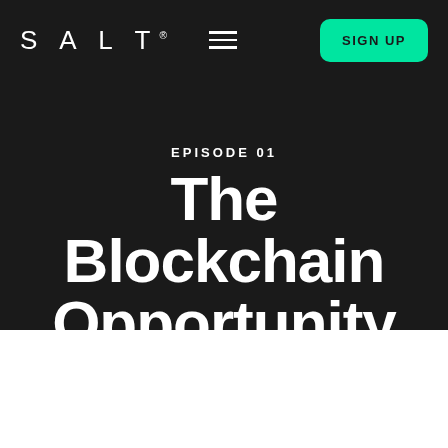SALT | SIGN UP
EPISODE 01
The Blockchain Opportunity